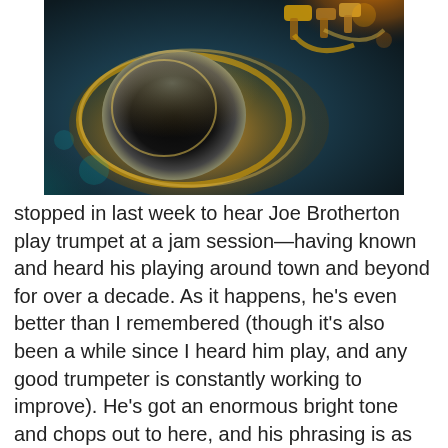[Figure (photo): Close-up photograph of a brass trumpet bell and valves with dramatic golden and teal lighting, bokeh background.]
stopped in last week to hear Joe Brotherton play trumpet at a jam session—having known and heard his playing around town and beyond for over a decade. As it happens, he's even better than I remembered (though it's also been a while since I heard him play, and any good trumpeter is constantly working to improve). He's got an enormous bright tone and chops out to here, and his phrasing is as beautiful as it is imaginative. When I say he's constantly working to get better, I refer specifically to his weekly residency at JoJo's on U Street, where he leads an edgy, hungry quintet. Membership varies a little bit, though its core staff tends to find Brotherton on trumpet